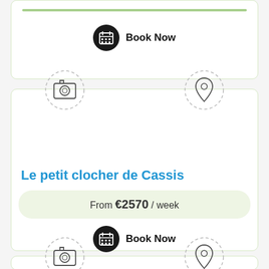[Figure (screenshot): Top card showing green progress bar and Book Now button with calendar icon]
Book Now
[Figure (screenshot): Main listing card for Le petit clocher de Cassis with camera and location icons, property title, price and book now button]
Le petit clocher de Cassis
From €2570 / week
Book Now
[Figure (screenshot): Bottom partial card showing camera and location dashed circle icons]